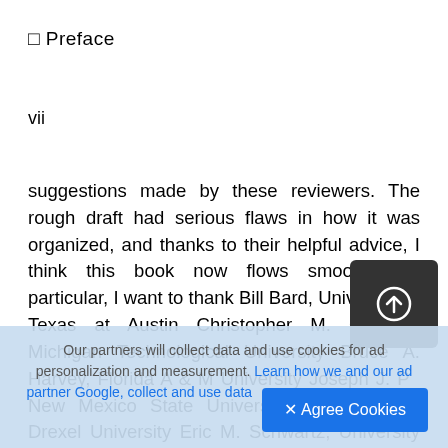□ Preface
vii
suggestions made by these reviewers. The rough draft had serious flaws in how it was organized, and thanks to their helpful advice, I think this book now flows smoothly. In particular, I want to thank Bill Bard, University of Texas at Austin Christopher M. Cischke, Michigan Technological University Bruce A. Harvey, Florida A & M University Joseph J. P[...] New Mexico State University Karkal S. P[...] Drexel University Eric M. Schwartz, University of Florida Lastly, I appreciate the valuable lessons of [...]